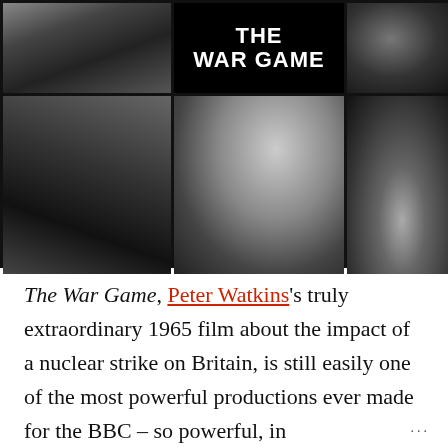[Figure (photo): Black and white photographic collage of stills from 'The War Game'. Top row: distressed woman, black title card reading 'THE WAR GAME', injured man's face. Bottom row: people with police near a doorway, a doctor figure, blindfolded man.]
The War Game, Peter Watkins's truly extraordinary 1965 film about the impact of a nuclear strike on Britain, is still easily one of the most powerful productions ever made for the BBC – so powerful, in
...